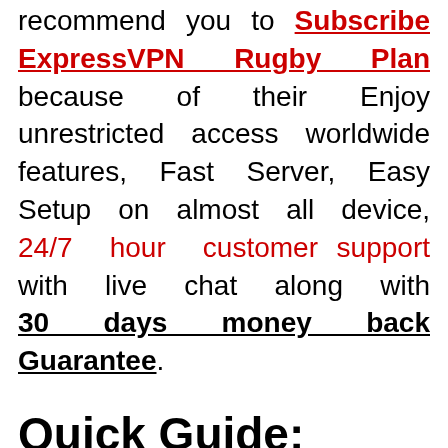recommend you to Subscribe ExpressVPN Rugby Plan because of their Enjoy unrestricted access worldwide features, Fast Server, Easy Setup on almost all device, 24/7 hour customer support with live chat along with 30 days money back Guarantee.
Quick Guide: Watch Any Rugby Matches Live From